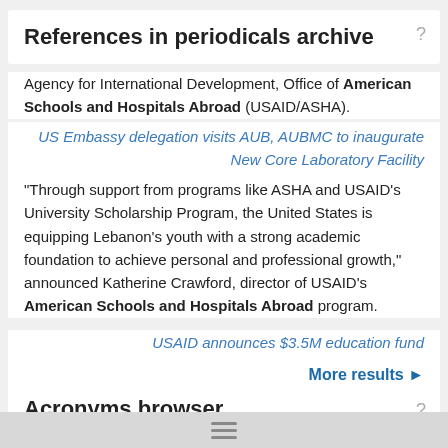References in periodicals archive
Agency for International Development, Office of American Schools and Hospitals Abroad (USAID/ASHA).
US Embassy delegation visits AUB, AUBMC to inaugurate New Core Laboratory Facility
"Through support from programs like ASHA and USAID's University Scholarship Program, the United States is equipping Lebanon's youth with a strong academic foundation to achieve personal and professional growth," announced Katherine Crawford, director of USAID's American Schools and Hospitals Abroad program.
USAID announces $3.5M education fund
More results ►
Acronyms browser
AMEREF